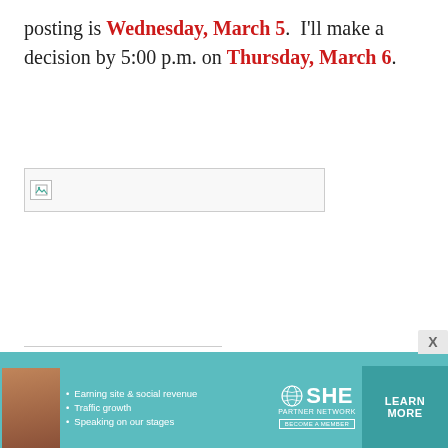posting is Wednesday, March 5.  I'll make a decision by 5:00 p.m. on Thursday, March 6.
[Figure (photo): Broken/missing image placeholder with small image icon]
SHARE THIS!
Share (button)
FILED UNDER: COOKING
TAGGED WITH: DESSERT
[Figure (infographic): SHE Partner Network advertisement banner with teal background, portrait photo, bullet points about earning site & social revenue, traffic growth, speaking on our stages, SHE logo, LEARN MORE button]